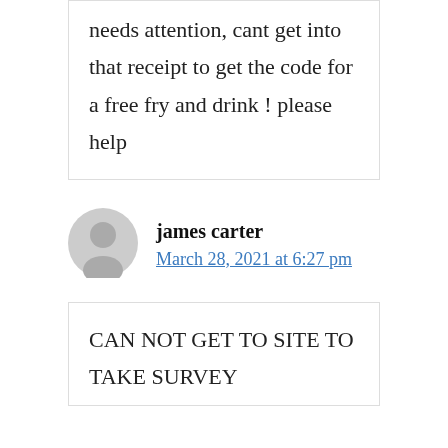needs attention, cant get into that receipt to get the code for a free fry and drink ! please help
james carter
March 28, 2021 at 6:27 pm
CAN NOT GET TO SITE TO TAKE SURVEY